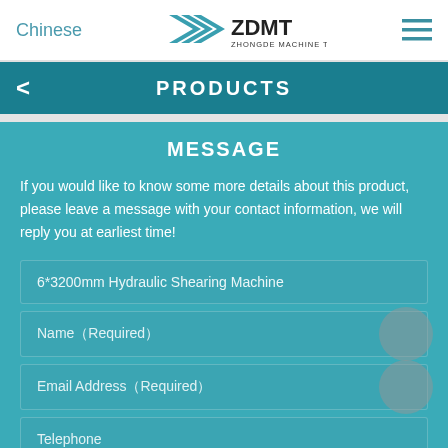Chinese | ZDMT ZHONGDE MACHINE TOOL
PRODUCTS
MESSAGE
If you would like to know some more details about this product, please leave a message with your contact information, we will reply you at earliest time!
6*3200mm Hydraulic Shearing Machine
Name（Required）
Email Address（Required）
Telephone
Mobile